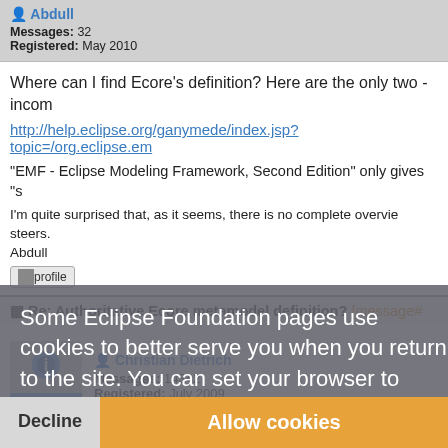Abdull
Messages: 32
Registered: May 2010
Where can I find Ecore's definition? Here are the only two - incom
http://help.eclipse.org/ganymede/index.jsp?topic=/org.eclipse.em
"EMF - Eclipse Modeling Framework, Second Edition" only gives "s
I'm quite surprised that, as it seems, there is no complete overvie
steers.
Abdull
profile
Re: Authoritative Ecore metamodel definition? [message#
Christian Dietrich
Messages: 14342
Registered: July 2009
Some Eclipse Foundation pages use cookies to better serve you when you return to the site. You can set your browser to notify you before you receive a cookie or turn off cookies. If you do so, however, some areas of some sites may not function properly. To read Eclipse Foundation Privacy Policy click here.
Decline
Allow cookies